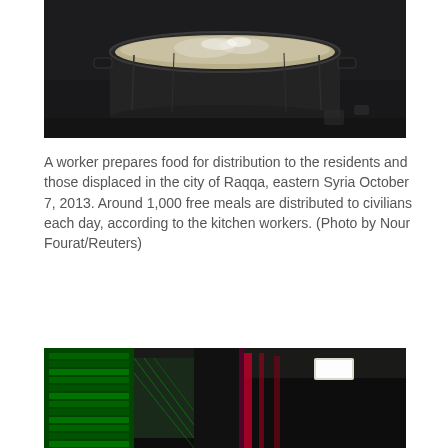[Figure (photo): A large black cooking pot boiling food on a stove or fire, viewed from above in a dark kitchen setting.]
A worker prepares food for distribution to the residents and those displaced in the city of Raqqa, eastern Syria October 7, 2013. Around 1,000 free meals are distributed to civilians each day, according to the kitchen workers. (Photo by Nour Fourat/Reuters)
[Figure (photo): Server racks or data center equipment lit with green and red lighting, showing cables and rack-mounted hardware.]